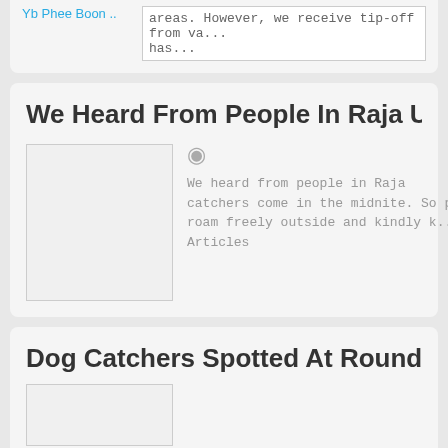Yb Phee Boon ..
areas. However, we receive tip-off from va... has...
We Heard From People In Raja Uda Butterwort
[Figure (photo): Placeholder thumbnail image box]
We heard from people in Raja ... catchers come in the midnite. So p... roam freely outside and kindly k... Articles
Dog Catchers Spotted At Roundabout Alagappa
[Figure (photo): Placeholder thumbnail image box]